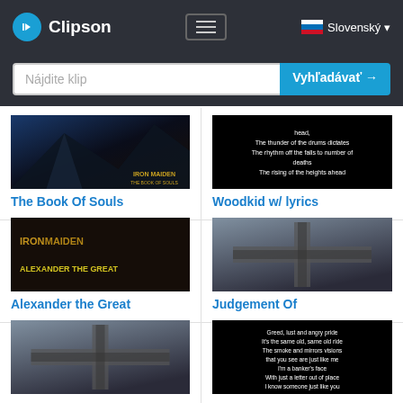Clipson — Slovenský
Nájdite klip
Vyhľadávať →
[Figure (screenshot): The Book Of Souls album art thumbnail — Iron Maiden mountainous landscape cover]
The Book Of Souls
[Figure (screenshot): Woodkid w/ lyrics thumbnail — black background with white lyrics text]
Woodkid w/ lyrics
[Figure (screenshot): Alexander the Great thumbnail — Iron Maiden band members with gold text 'ALEXANDER THE GREAT']
Alexander the Great
[Figure (screenshot): Judgement Of thumbnail — dark album art with X cross motif]
Judgement Of
[Figure (screenshot): X album art thumbnail — hourglass figure with X cross]
[Figure (screenshot): Greed lyrics thumbnail — black background with white lyrics about greed and pride]